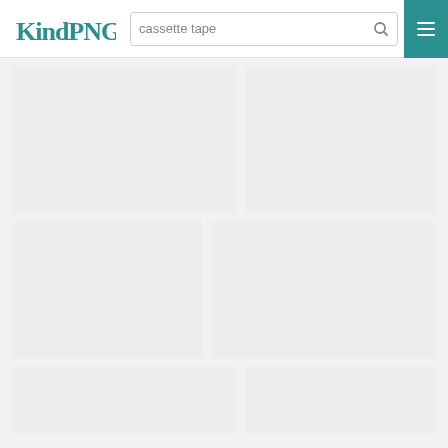KindPNG — cassette tape search
[Figure (screenshot): KindPNG website search results page showing a grid of image placeholder tiles for the search query 'cassette tape'. The header contains the KindPNG logo, a search bar with the text 'cassette tape', and a teal hamburger menu button. Below are six placeholder image cells in a two-column grid layout, all showing light gray backgrounds indicating loading images.]